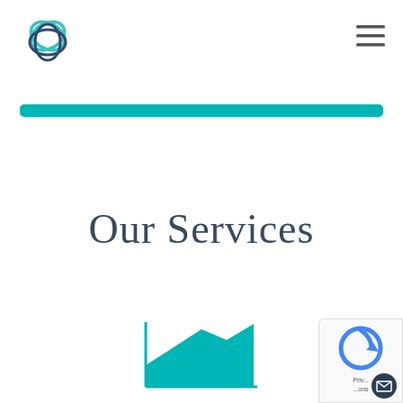[Figure (logo): Teal and dark blue interlocking circular loops logo]
[Figure (illustration): Hamburger menu icon (three horizontal lines) in the top right corner]
[Figure (illustration): Teal rounded rectangle navigation bar below the header]
Our Services
[Figure (illustration): Teal area/line chart icon representing services]
[Figure (illustration): reCAPTCHA badge in bottom right corner with privacy text and email button]